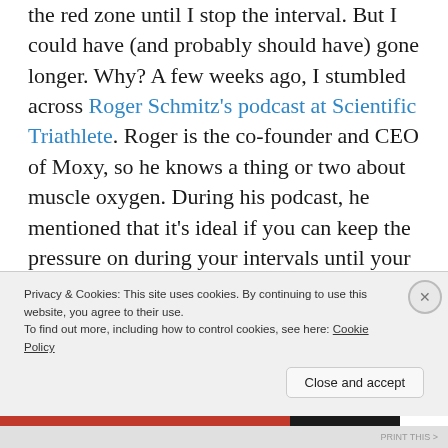the red zone until I stop the interval. But I could have (and probably should have) gone longer. Why? A few weeks ago, I stumbled across Roger Schmitz's podcast at Scientific Triathlete. Roger is the co-founder and CEO of Moxy, so he knows a thing or two about muscle oxygen. During his podcast, he mentioned that it's ideal if you can keep the pressure on during your intervals until your blood oxygen starts to plateau at the bottom end. Right now, the Humon Hex can tell you when you are "bottoming out" just by looking at the numbers
Privacy & Cookies: This site uses cookies. By continuing to use this website, you agree to their use. To find out more, including how to control cookies, see here: Cookie Policy
Close and accept